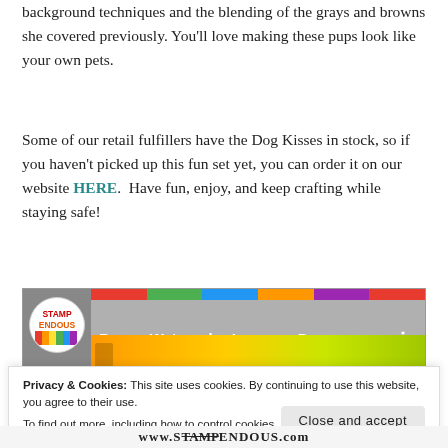Perfectly Clear Stamps™ Set to practice the background techniques and the blending of the grays and browns she covered previously. You'll love making these pups look like your own pets.
Some of our retail fulfillers have the Dog Kisses in stock, so if you haven't picked up this fun set yet, you can order it on our website HERE.  Have fun, enjoy, and keep crafting while staying safe!
[Figure (screenshot): Video thumbnail for 'Bonus Watercolor Lesson - D...' on the Stampendous channel, showing logo circle, color bar, and colorful image strip]
Privacy & Cookies: This site uses cookies. By continuing to use this website, you agree to their use.
To find out more, including how to control cookies, see here: Our Cookie Policy